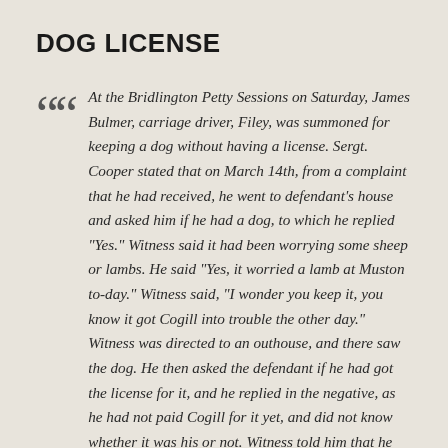DOG LICENSE
At the Bridlington Petty Sessions on Saturday, James Bulmer, carriage driver, Filey, was summoned for keeping a dog without having a license. Sergt. Cooper stated that on March 14th, from a complaint that he had received, he went to defendant's house and asked him if he had a dog, to which he replied "Yes." Witness said it had been worrying some sheep or lambs. He said "Yes, it worried a lamb at Muston to-day." Witness said, "I wonder you keep it, you know it got Cogill into trouble the other day." Witness was directed to an outhouse, and there saw the dog. He then asked the defendant if he had got the license for it, and he replied in the negative, as he had not paid Cogill for it yet, and did not know whether it was his or not. Witness told him that he was responsible for it and for what it had done. He replied that he knew that. Defendant stated that he only had the dog on trial for a week or two, and the first day he had it out